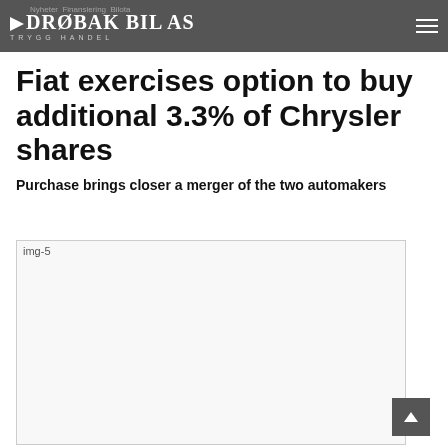DRØBAK BIL AS TRYGG HANDEL
Fiat exercises option to buy additional 3.3% of Chrysler shares
Purchase brings closer a merger of the two automakers
[Figure (photo): Image placeholder labeled img-5, showing a car-related photo (not loaded)]